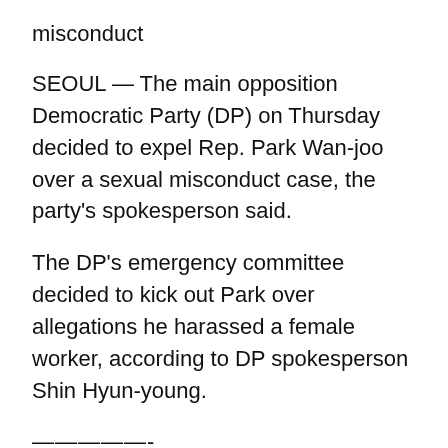misconduct
SEOUL — The main opposition Democratic Party (DP) on Thursday decided to expel Rep. Park Wan-joo over a sexual misconduct case, the party's spokesperson said.
The DP's emergency committee decided to kick out Park over allegations he harassed a female worker, according to DP spokesperson Shin Hyun-young.
—————-
Independent lawmaker loses Assembly seat for election law violations
SEOUL — Independent lawmaker Lee Sang-jik was stripped of his National Assembly seat on Thursday after the Supreme Court upheld a suspended prison